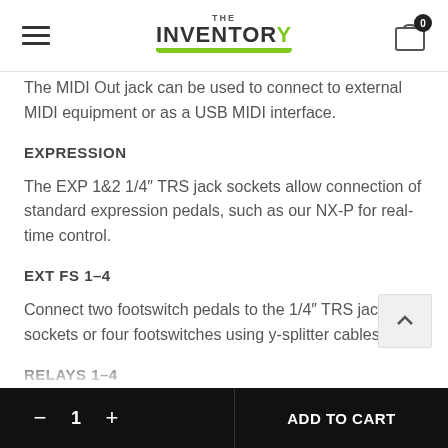THE INVENTORY
The MIDI Out jack can be used to connect to external MIDI equipment or as a USB MIDI interface.
EXPRESSION
The EXP 1&2 1/4″ TRS jack sockets allow connection of standard expression pedals, such as our NX-P for real-time control.
EXT FS 1–4
Connect two footswitch pedals to the 1/4″ TRS jack sockets or four footswitches using y-splitter cables.
RELAYS 1–4
Four relays on two 1/4″ TRS soc…